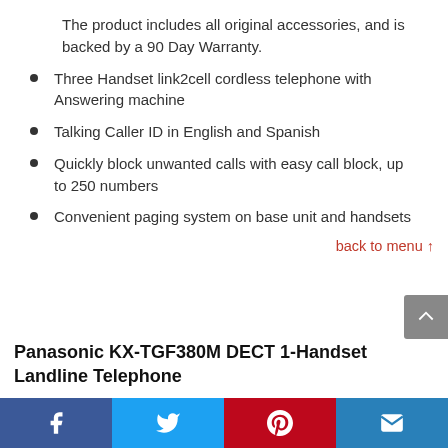The product includes all original accessories, and is backed by a 90 Day Warranty.
Three Handset link2cell cordless telephone with Answering machine
Talking Caller ID in English and Spanish
Quickly block unwanted calls with easy call block, up to 250 numbers
Convenient paging system on base unit and handsets
back to menu ↑
Panasonic KX-TGF380M DECT 1-Handset Landline Telephone